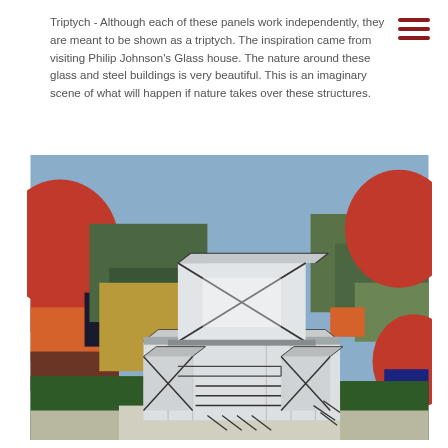Triptych - Although each of these panels work independently, they are meant to be shown as a triptych. The inspiration came from visiting Philip Johnson's Glass house. The nature around these glass and steel buildings is very beautiful. This is an imaginary scene of what will happen if nature takes over these structures.
[Figure (illustration): A painting depicting a glass and steel building structure rendered in white and grey, surrounded by an abstract colorful background with red circular tree-like shapes, green and olive rectangular color blocks, and an orange area. The style is semi-abstract oil painting with visible brushwork.]